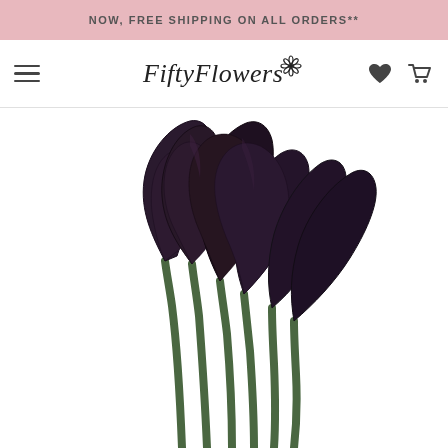NOW, FREE SHIPPING ON ALL ORDERS**
[Figure (logo): FiftyFlowers logo with decorative script text and flower icon]
[Figure (photo): Close-up photo of dark purple/black calla lily flowers with green stems on a white background]